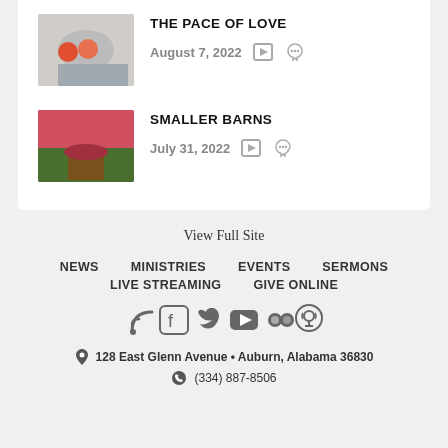THE PACE OF LOVE
August 7, 2022
SMALLER BARNS
July 31, 2022
View Full Site
NEWS
MINISTRIES
EVENTS
SERMONS
LIVE STREAMING
GIVE ONLINE
128 East Glenn Avenue • Auburn, Alabama 36830
(334) 887-8506